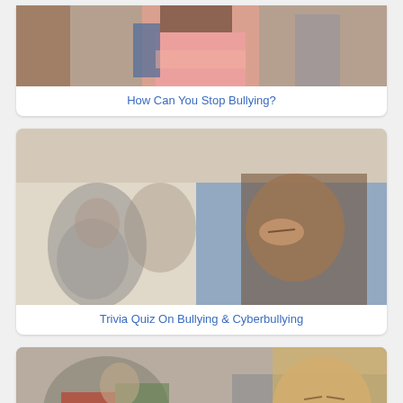[Figure (photo): Teenage girl in pink top standing against brick wall with arms crossed, looking down, other students blurred in background - bullying scene]
How Can You Stop Bullying?
[Figure (photo): Young woman with brown hair holding her head in distress while teens in background laugh at her - bullying scene]
Trivia Quiz On Bullying & Cyberbullying
[Figure (photo): Teenage girl with blonde hair looking distressed at phone while two girls in background look on - cyberbullying scene]